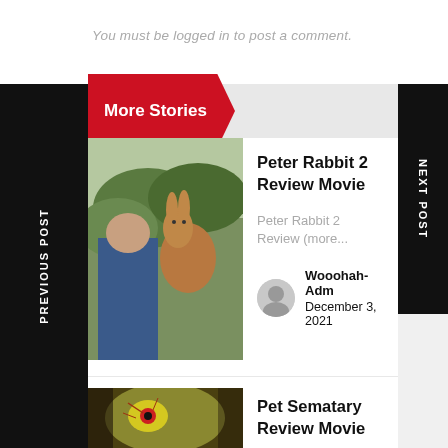You must be logged in to post a comment.
More Stories
Peter Rabbit 2 Review Movie
Peter Rabbit 2 Review (more...
Wooohah-Adm
December 3, 2021
Pet Sematary Review Movie
Pet Sematary Review (more...)
PREVIOUS POST
NEXT POST